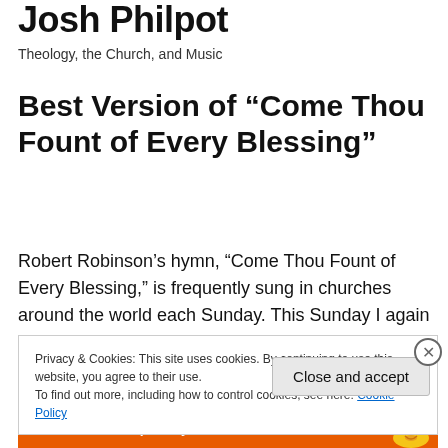Josh Philpot
Theology, the Church, and Music
Best Version of “Come Thou Fount of Every Blessing”
Robert Robinson’s hymn, “Come Thou Fount of Every Blessing,” is frequently sung in churches around the world each Sunday. This Sunday I again share the privilege of leading congregation worship with this hymn. What most
Privacy & Cookies: This site uses cookies. By continuing to use this website, you agree to their use.
To find out more, including how to control cookies, see here: Cookie Policy
Close and accept
[Figure (screenshot): Orange advertisement bar at the bottom with text 'email with more privacy.' and a DuckDuckGo duck icon]